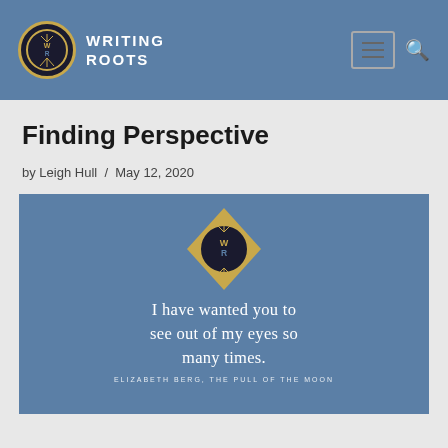Writing Roots
Finding Perspective
by Leigh Hull / May 12, 2020
[Figure (illustration): Writing Roots branded quote image on blue background with diamond-shaped logo and text: 'I have wanted you to see out of my eyes so many times.' — Elizabeth Berg, The Pull of the Moon]